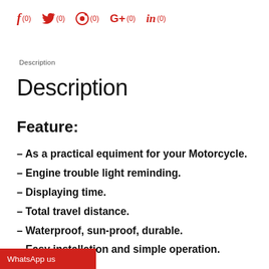f (0)  (0)  (0)  G+ (0)  in (0)
Description
Description
Feature:
– As a practical equiment for your Motorcycle.
– Engine trouble light reminding.
– Displaying time.
– Total travel distance.
– Waterproof, sun-proof, durable.
– Easy installation and simple operation.
WhatsApp us